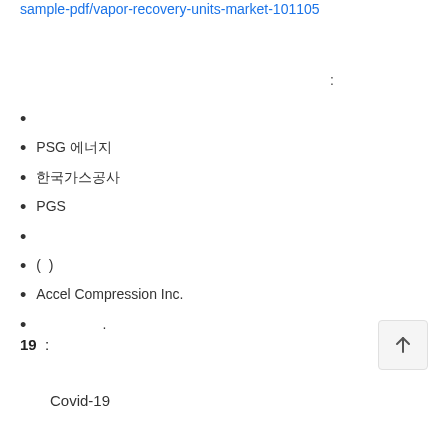sample-pdf/vapor-recovery-units-market-101105
:
PSG 에너지
한국가스공사
PGS
( )
Accel Compression Inc.
.
19 :
Covid-19